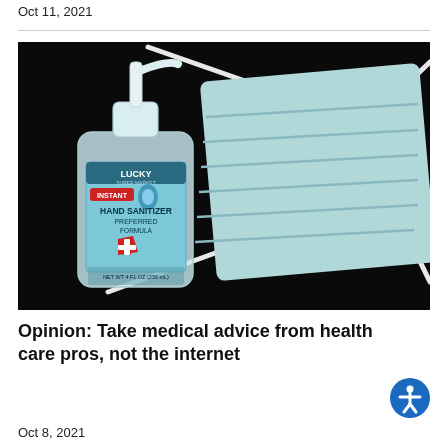Oct 11, 2021
[Figure (photo): A bottle of Lucky brand Instant Hand Sanitizer Preferred Formula with a pump top, placed in front of a light blue surgical face mask with white elastic straps, on a black background.]
Opinion: Take medical advice from health care pros, not the internet
Oct 8, 2021